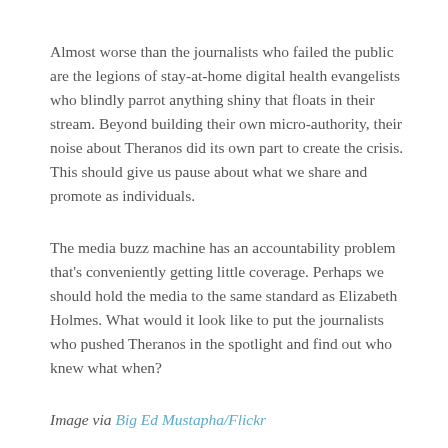Almost worse than the journalists who failed the public are the legions of stay-at-home digital health evangelists who blindly parrot anything shiny that floats in their stream. Beyond building their own micro-authority, their noise about Theranos did its own part to create the crisis. This should give us pause about what we share and promote as individuals.
The media buzz machine has an accountability problem that's conveniently getting little coverage. Perhaps we should hold the media to the same standard as Elizabeth Holmes. What would it look like to put the journalists who pushed Theranos in the spotlight and find out who knew what when?
Image via Big Ed Mustapha/Flickr